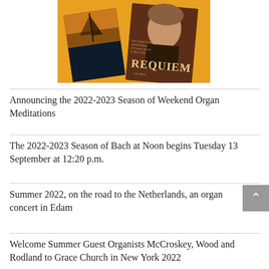[Figure (photo): Photo of two books/booklets on a yellow/orange background. One shows a dark nautical scene, the other shows 'REQUIEM' with a portrait of what appears to be Mozart and subtitle text about 'The Choral Society and Orchestra of Grace Church in New York'.]
Announcing the 2022-2023 Season of Weekend Organ Meditations
The 2022-2023 Season of Bach at Noon begins Tuesday 13 September at 12:20 p.m.
Summer 2022, on the road to the Netherlands, an organ concert in Edam
Welcome Summer Guest Organists McCroskey, Wood and Rodland to Grace Church in New York 2022